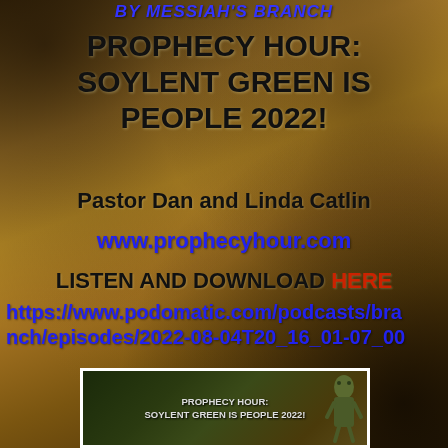BY MESSIAH'S BRANCH
PROPHECY HOUR: SOYLENT GREEN IS PEOPLE 2022!
Pastor Dan and Linda Catlin
www.prophecyhour.com
LISTEN AND DOWNLOAD HERE
https://www.podomatic.com/podcasts/branch/episodes/2022-08-04T20_16_01-07_00
[Figure (photo): Thumbnail image showing 'PROPHECY HOUR: SOYLENT GREEN IS PEOPLE 2022!' text with dark green/brown background and a figure on the right side]